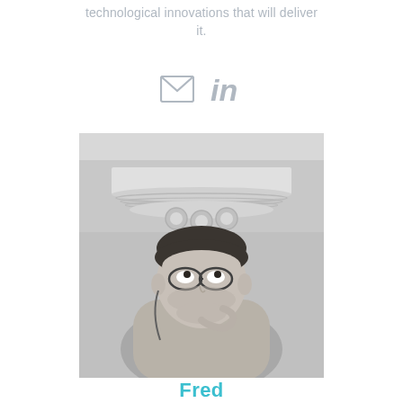technological innovations that will deliver it.
[Figure (illustration): Email envelope icon and LinkedIn 'in' icon in gray]
[Figure (photo): Black and white photo of a man with glasses, hand on chin, looking up thoughtfully toward an overhead light fixture with multiple bulb sockets]
Fred